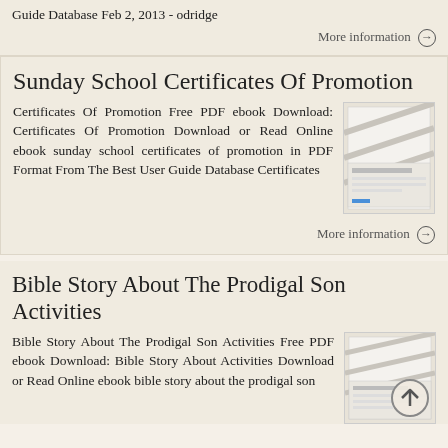Guide Database Feb 2, 2013 - odridge
More information →
Sunday School Certificates Of Promotion
Certificates Of Promotion Free PDF ebook Download: Certificates Of Promotion Download or Read Online ebook sunday school certificates of promotion in PDF Format From The Best User Guide Database Certificates
[Figure (illustration): Thumbnail image of a document page with diagonal decorative lines]
More information →
Bible Story About The Prodigal Son Activities
Bible Story About The Prodigal Son Activities Free PDF ebook Download: Bible Story About Activities Download or Read Online ebook bible story about the prodigal son
[Figure (illustration): Thumbnail image of a document page with back-to-top arrow overlay]